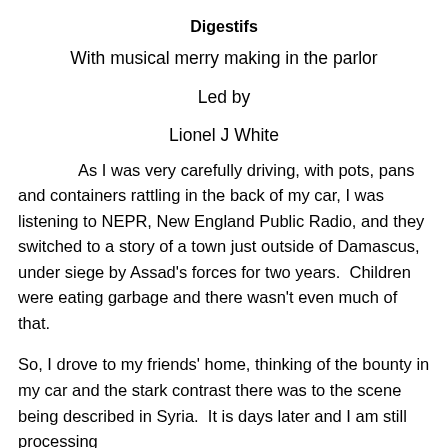Digestifs
With musical merry making in the parlor
Led by
Lionel J White
As I was very carefully driving, with pots, pans and containers rattling in the back of my car, I was listening to NEPR, New England Public Radio, and they switched to a story of a town just outside of Damascus, under siege by Assad's forces for two years.  Children were eating garbage and there wasn't even much of that.
So, I drove to my friends' home, thinking of the bounty in my car and the stark contrast there was to the scene being described in Syria.  It is days later and I am still processing